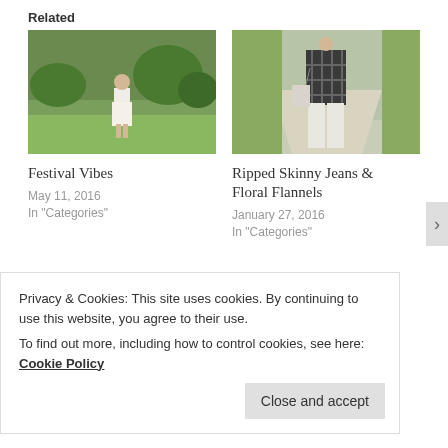Related
[Figure (photo): Woman in white dress standing outdoors on a green lawn with trees in background]
Festival Vibes
May 11, 2016
In "Categories"
[Figure (photo): Person in plaid flannel shirt with torn jeans walking on a path, carrying a white bag]
Ripped Skinny Jeans & Floral Flannels
January 27, 2016
In "Categories"
[Figure (photo): Person in striped shirt near wooden fence]
Privacy & Cookies: This site uses cookies. By continuing to use this website, you agree to their use.
To find out more, including how to control cookies, see here: Cookie Policy